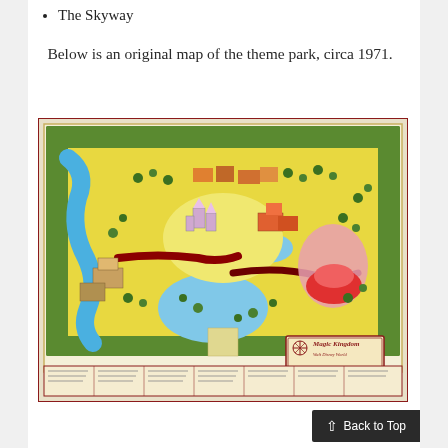The Skyway
Below is an original map of the theme park, circa 1971.
[Figure (map): Original illustrated map of Magic Kingdom theme park, circa 1971. The map shows a colorful illustrated bird's-eye view of the park with various lands, attractions, trees, waterways, and a legend at the bottom. A 'Magic Kingdom' logo is visible in the lower right corner.]
Back to Top